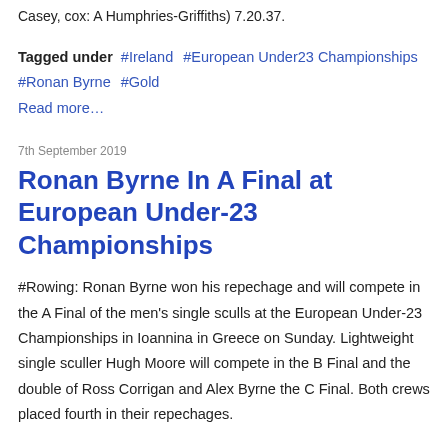Casey, cox: A Humphries-Griffiths) 7.20.37.
Tagged under  #Ireland  #European Under23 Championships  #Ronan Byrne  #Gold
Read more...
7th September 2019
Ronan Byrne In A Final at European Under-23 Championships
#Rowing: Ronan Byrne won his repechage and will compete in the A Final of the men's single sculls at the European Under-23 Championships in Ioannina in Greece on Sunday. Lightweight single sculler Hugh Moore will compete in the B Final and the double of Ross Corrigan and Alex Byrne the C Final. Both crews placed fourth in their repechages.